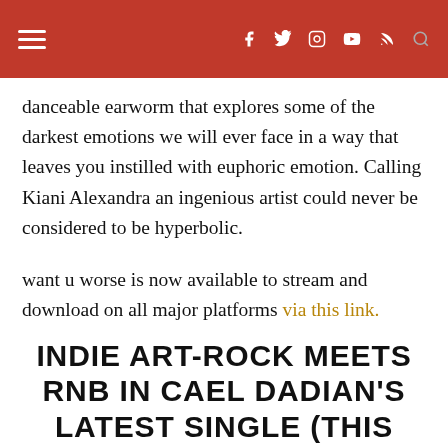≡  f  t  instagram  youtube  rss  search
danceable earworm that explores some of the darkest emotions we will ever face in a way that leaves you instilled with euphoric emotion. Calling Kiani Alexandra an ingenious artist could never be considered to be hyperbolic.
want u worse is now available to stream and download on all major platforms via this link.
Review by Amelia Vandergast
INDIE ART-ROCK MEETS RNB IN CAEL DADIAN'S LATEST SINGLE (THIS